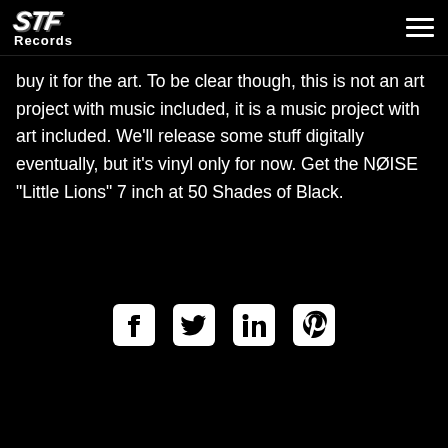STF Records
buy it for the art. To be clear though, this is not an art project with music included, it is a music project with art included. We'll release some stuff digitally eventually, but it's vinyl only for now. Get the NØISE "Little Lions" 7 inch at 50 Shades of Black.
Back
[Figure (infographic): Social media icons for Facebook, Twitter, LinkedIn, and Pinterest displayed in white on black background]